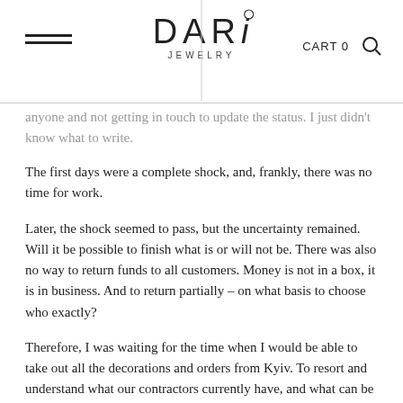DARI JEWELRY | CART 0
anyone and not getting in touch to update the status. I just didn't know what to write.
The first days were a complete shock, and, frankly, there was no time for work.
Later, the shock seemed to pass, but the uncertainty remained. Will it be possible to finish what is or will not be. There was also no way to return funds to all customers. Money is not in a box, it is in business. And to return partially – on what basis to choose who exactly?
Therefore, I was waiting for the time when I would be able to take out all the decorations and orders from Kyiv. To resort and understand what our contractors currently have, and what can be completed in another workshop, etc. And then write. This also takes time, and my sales manager went to Germany for temporary work, and I don't have the opportunity to work every day, as you understand, I don't